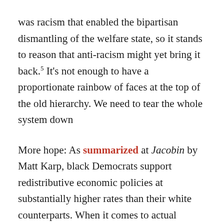was racism that enabled the bipartisan dismantling of the welfare state, so it stands to reason that anti-racism might yet bring it back.⁵ It's not enough to have a proportionate rainbow of faces at the top of the old hierarchy. We need to tear the whole system down
More hope: As summarized at Jacobin by Matt Karp, black Democrats support redistributive economic policies at substantially higher rates than their white counterparts. When it comes to actual policy, social democrats have more in common than not with the